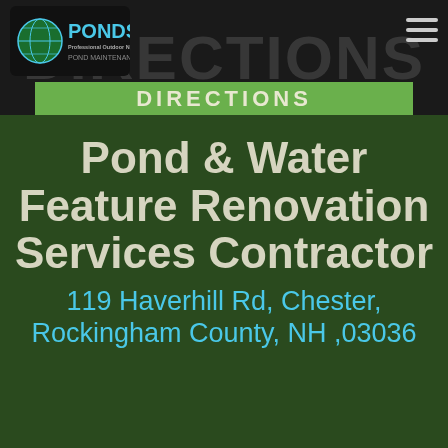[Figure (logo): PONDS Professional Outdoor Network Directory Services logo with globe icon and 'POND MAINTENANCE' subtitle]
DIRECTIONS
Pond & Water Feature Renovation Services Contractor
119 Haverhill Rd, Chester, Rockingham County, NH ,03036